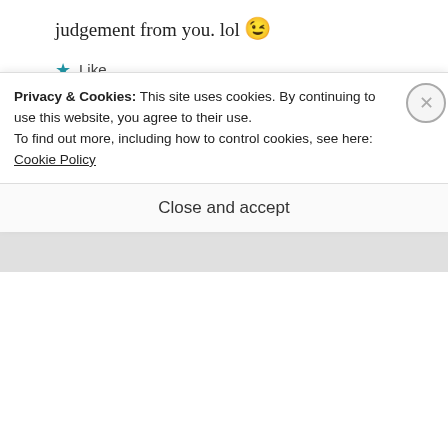judgement from you. lol 😉
★ Like
Advertisements
Mabel Kwong
MARCH 21, 2014 AT 9:21 AM
Privacy & Cookies: This site uses cookies. By continuing to use this website, you agree to their use.
To find out more, including how to control cookies, see here: Cookie Policy
Close and accept